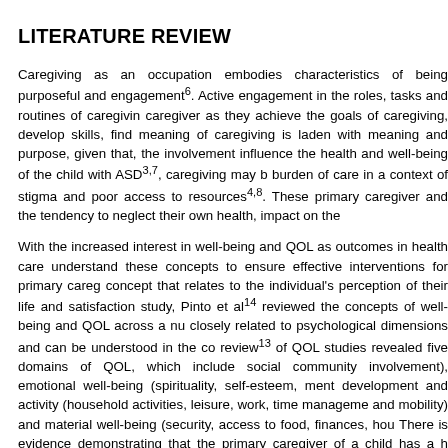LITERATURE REVIEW
Caregiving as an occupation embodies characteristics of being purposeful and engagement⁶. Active engagement in the roles, tasks and routines of caregiving caregiver as they achieve the goals of caregiving, develop skills, find meaning of caregiving is laden with meaning and purpose, given that, the involvement influence the health and well-being of the child with ASD³⁷, caregiving may burden of care in a context of stigma and poor access to resources⁴⁸. These primary caregiver and the tendency to neglect their own health, impact on the
With the increased interest in well-being and QOL as outcomes in health care understand these concepts to ensure effective interventions for primary careg concept that relates to the individual’s perception of their life and satisfaction study, Pinto et al¹⁴ reviewed the concepts of well-being and QOL across a number closely related to psychological dimensions and can be understood in the con review¹³ of QOL studies revealed five domains of QOL, which include social community involvement), emotional well-being (spirituality, self-esteem, mental development and activity (household activities, leisure, work, time management and mobility) and material well-being (security, access to food, finances, housing). There is evidence demonstrating that the primary caregiver of a child has a h participation¹⁵. For example, the manner in which a child with ASD is cared f physical development of that child¹¹. Conversely, if a primary caregiver has e well-being, they may present with poor caregiving skills that will inevitably impact. Moreover, vigilance noted in primary caregiv-ers, specifically mothers, is a cc anxiety, depression and stress which further lead to an impact on the QOL